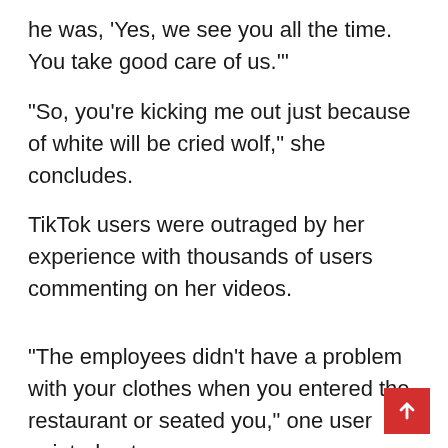he was, ‘Yes, we see you all the time. You take good care of us.’”
“So, you’re kicking me out just because of white will be cried wolf,” she concludes.
TikTok users were outraged by her experience with thousands of users commenting on her videos.
“The employees didn’t have a problem with your clothes when you entered the restaurant or seated you,” one user pointed out.
“If your clothes was an issue, they should’ve said something when you first walked in,” agreed another.